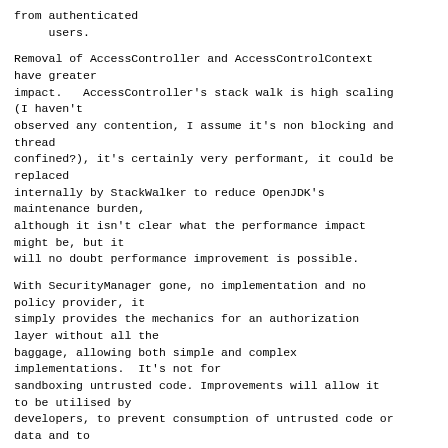from authenticated
     users.
Removal of AccessController and AccessControlContext have greater
impact.   AccessController's stack walk is high scaling (I haven't
observed any contention, I assume it's non blocking and thread
confined?), it's certainly very performant, it could be replaced
internally by StackWalker to reduce OpenJDK's maintenance burden,
although it isn't clear what the performance impact might be, but it
will no doubt performance improvement is possible.
With SecurityManager gone, no implementation and no policy provider, it
simply provides the mechanics for an authorization layer without all the
baggage, allowing both simple and complex implementations.  It's not for
sandboxing untrusted code. Improvements will allow it to be utilised by
developers, to prevent consumption of untrusted code or data and to
limit the privileges of trusted code and users to principles of least
privilege.